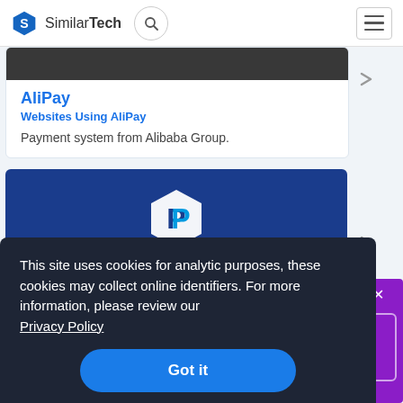SimilarTech
AliPay
Websites Using AliPay
Payment system from Alibaba Group.
[Figure (screenshot): Blue background card with PayPal hexagon logo icon]
This site uses cookies for analytic purposes, these cookies may collect online identifiers. For more information, please review our Privacy Policy
Got it